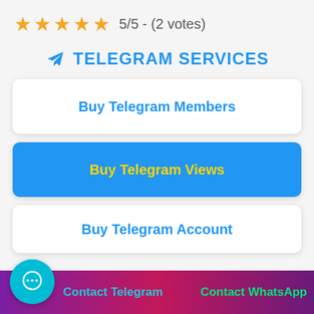★★★★★ 5/5 - (2 votes)
✈ TELEGRAM SERVICES
Buy Telegram Members
Buy Telegram Views
Buy Telegram Account
Contact Telegram    Contact WhatsApp